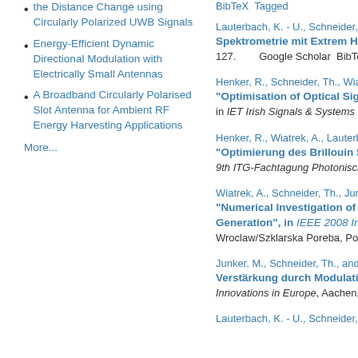the Distance Change using Circularly Polarized UWB Signals
Energy-Efficient Dynamic Directional Modulation with Electrically Small Antennas
A Broadband Circularly Polarised Slot Antenna for Ambient RF Energy Harvesting Applications
More...
BibTeX  Tagged
Lauterbach, K. - U., Schneider, Th.
Spektrometrie mit Extrem Ho... 127.   Google Scholar  BibTeX
Henker, R., Schneider, Th., Wiatre... "Optimisation of Optical Sign... in IET Irish Signals & Systems Co...
Henker, R., Wiatrek, A., Lauterbac... "Optimierung des Brillouin S... 9th ITG-Fachtagung Photonische
Wiatrek, A., Schneider, Th., Junke... "Numerical Investigation of B... Generation", in IEEE 2008 Inter... Wroclaw/Szklarska Poreba, Poland
Junker, M., Schneider, Th., and La... Verstärkung durch Modulatio... Innovations in Europe, Aachen, Ge
Lauterbach, K. - U., Schneider, Th...